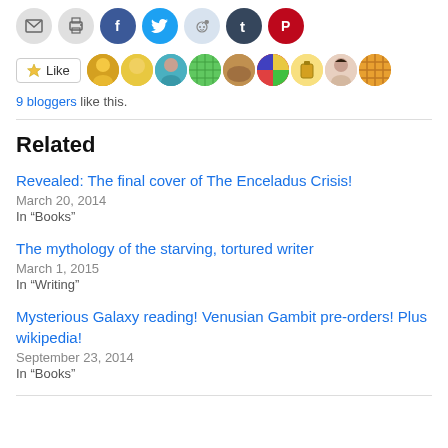[Figure (infographic): Row of social sharing icon circles: email (gray), print (gray), Facebook (blue), Twitter (light blue), Reddit (light blue-gray), Tumblr (dark blue), Pinterest (red)]
[Figure (infographic): Like button with star icon and 9 blogger avatar thumbnails next to it]
9 bloggers like this.
Related
Revealed: The final cover of The Enceladus Crisis!
March 20, 2014
In "Books"
The mythology of the starving, tortured writer
March 1, 2015
In "Writing"
Mysterious Galaxy reading! Venusian Gambit pre-orders! Plus wikipedia!
September 23, 2014
In "Books"